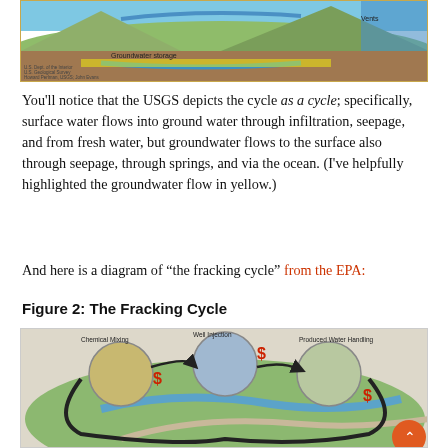[Figure (illustration): Top portion of USGS water cycle diagram showing groundwater storage and vents labels, with USGS/Dept of Interior credit]
You'll notice that the USGS depicts the cycle as a cycle; specifically, surface water flows into ground water through infiltration, seepage, and from fresh water, but groundwater flows to the surface also through seepage, through springs, and via the ocean. (I've helpfully highlighted the groundwater flow in yellow.)
And here is a diagram of “the fracking cycle” from the EPA:
Figure 2: The Fracking Cycle
[Figure (infographic): EPA diagram of the fracking cycle showing circular flow between Chemical Mixing, Well Injection, and Produced Water Handling stages, with dollar signs indicating costs, overlaid on a landscape illustration]